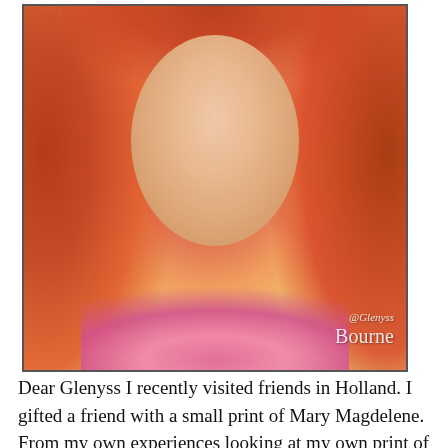[Figure (illustration): A soft, painterly portrait illustration of a woman with long auburn/red hair, looking forward with a gentle expression. She wears a pink top. The background has warm yellow-green tones. A watermark reads '@Glenyss Bourne' in the lower right corner of the image.]
Dear Glenyss I recently visited friends in Holland. I gifted a friend with a small print of Mary Magdelene. From my own experiences looking at my own print of Mary I knew that there was much